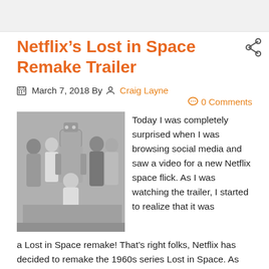Netflix’s Lost in Space Remake Trailer
March 7, 2018 By  Craig Layne  0 Comments
[Figure (photo): Black and white photo of the Lost in Space cast posing with a robot]
Today I was completely surprised when I was browsing social media and saw a video for a new Netflix space flick. As I was watching the trailer, I started to realize that it was a Lost in Space remake! That’s right folks, Netflix has decided to remake the 1960s series Lost in Space. As